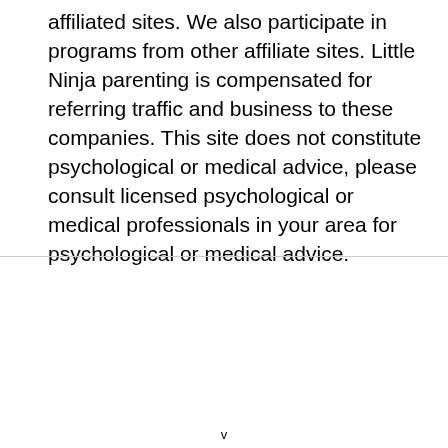affiliated sites. We also participate in programs from other affiliate sites. Little Ninja parenting is compensated for referring traffic and business to these companies. This site does not constitute psychological or medical advice, please consult licensed psychological or medical professionals in your area for psychological or medical advice.
v